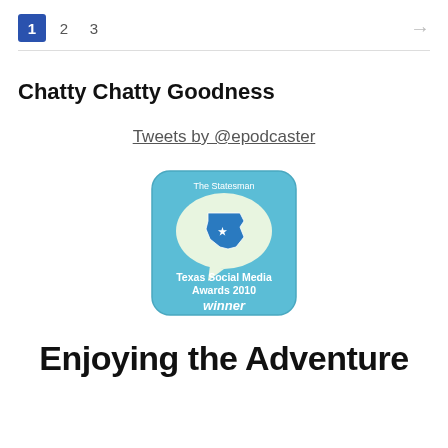1  2  3  →
Chatty Chatty Goodness
Tweets by @epodcaster
[Figure (logo): The Statesman Texas Social Media Awards 2010 winner badge — light blue rounded square with a speech bubble containing the Texas state outline and the text 'Texas Social Media Awards 2010 winner']
Enjoying the Adventure